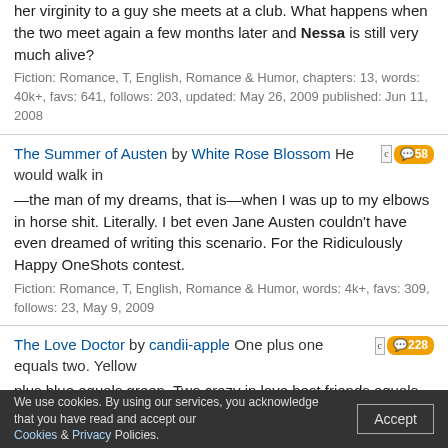her virginity to a guy she meets at a club. What happens when the two meet again a few months later and Nessa is still very much alive? Fiction: Romance, T, English, Romance & Humor, chapters: 13, words: 40k+, favs: 641, follows: 203, updated: May 26, 2009 published: Jun 11, 2008
The Summer of Austen by White Rose Blossom He would walk in—the man of my dreams, that is—when I was up to my elbows in horse shit. Literally. I bet even Jane Austen couldn't have even dreamed of writing this scenario. For the Ridiculously Happy OneShots contest. Fiction: Romance, T, English, Romance & Humor, words: 4k+, favs: 309, follows: 23, May 9, 2009 [c] 58
The Love Doctor by candii-apple One plus one equals two. Yellow plus blue equals green. Two crazy in love best friends equals the cutest couple ever. But one surly Mr. I-don't-believe-in-happy-endings, plus one slightly insane Little Miss Matchmaker? Not even Newton can find an answer. Fiction: Romance, T, English, Romance & Humor, words: 8k+, favs: 900, follows: 65, Apr 27, 2009 [c] 228
False Facades » by Maeven Sam Westlane is the new kid in the famous all boys Crestan High School for the rich and the spoiled ... There's only one problem. Sam is a girl. Fiction: Romance, T, English, Romance & Humor, chapters: 30, words: 114k+, favs: 6k+, follows: 987, updated: Jan 5, 2009 published: Sep 5, 2003 [c] 7k+
We use cookies. By using our services, you acknowledge that you have read and accept our Cookies & Privacy Policies.